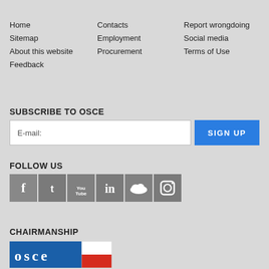Home
Sitemap
About this website
Feedback
Contacts
Employment
Procurement
Report wrongdoing
Social media
Terms of Use
SUBSCRIBE TO OSCE
E-mail:
SIGN UP
FOLLOW US
[Figure (illustration): Social media icons: Facebook, Twitter, YouTube, LinkedIn, SoundCloud, Instagram]
CHAIRMANSHIP
[Figure (logo): OSCE logo with Polish flag (white and red) — OSCE lettering in blue, flag section on right]